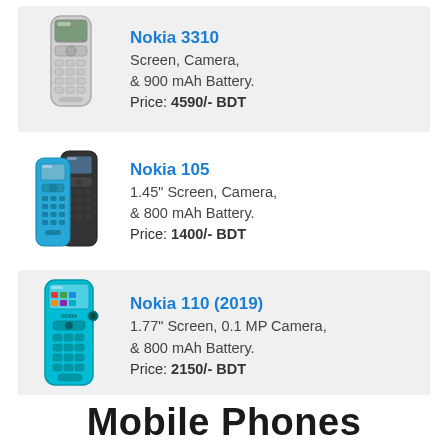[Figure (photo): Nokia 3310 phone image - classic white/grey phone]
Nokia 3310
Screen, Camera, & 900 mAh Battery.
Price: 4590/- BDT
[Figure (photo): Nokia 105 phone image - black and blue phones]
Nokia 105
1.45" Screen, Camera, & 800 mAh Battery.
Price: 1400/- BDT
[Figure (photo): Nokia 110 (2019) phone image - teal/cyan phone]
Nokia 110 (2019)
1.77" Screen, 0.1 MP Camera, & 800 mAh Battery.
Price: 2150/- BDT
Mobile Phones